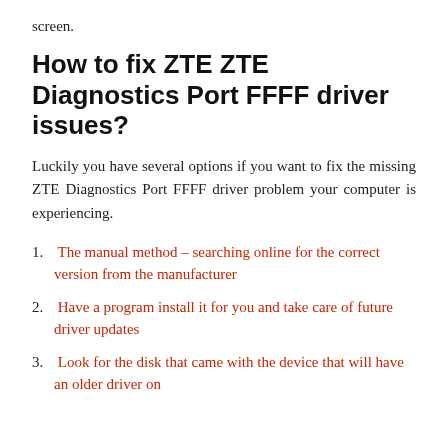screen.
How to fix ZTE ZTE Diagnostics Port FFFF driver issues?
Luckily you have several options if you want to fix the missing ZTE Diagnostics Port FFFF driver problem your computer is experiencing.
The manual method – searching online for the correct version from the manufacturer
Have a program install it for you and take care of future driver updates
Look for the disk that came with the device that will have an older driver on